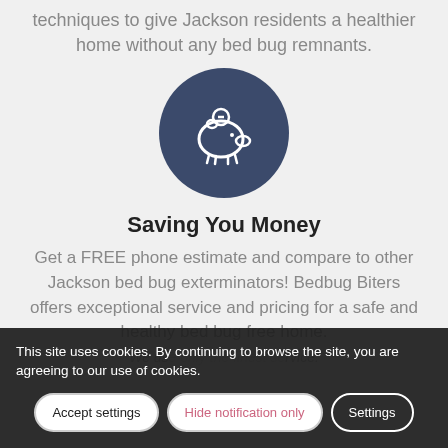techniques to give Jackson residents a healthier home without any bed bug remnants.
[Figure (illustration): Dark navy blue circle icon containing a white piggy bank outline with a coin slot on top]
Saving You Money
Get a FREE phone estimate and compare to other Jackson bed bug exterminators! Bedbug Biters offers exceptional service and pricing for a safe and healthy bed bug free home.
We use only the finest service.
This site uses cookies. By continuing to browse the site, you are agreeing to our use of cookies.